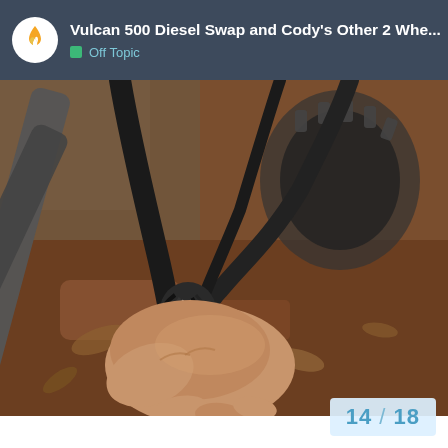Vulcan 500 Diesel Swap and Cody's Other 2 Whe... | Off Topic
[Figure (photo): Close-up photograph of a hand holding damaged/frayed black cables or wires near a motorcycle or vehicle frame, with a tire and ground debris visible in the background.]
14 / 18